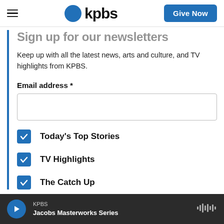KPBS — Give Now
Sign up for our newsletters
Keep up with all the latest news, arts and culture, and TV highlights from KPBS.
Email address *
Today's Top Stories
TV Highlights
The Catch Up
KPBS — Jacobs Masterworks Series